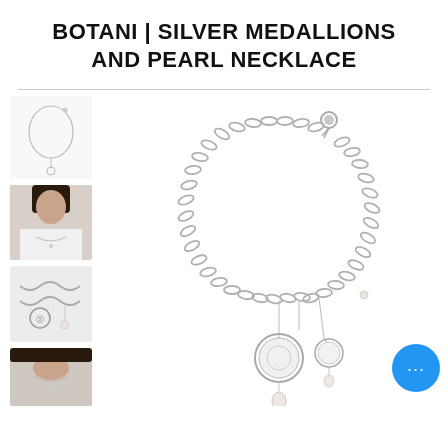BOTANI | SILVER MEDALLIONS AND PEARL NECKLACE
[Figure (photo): Thumbnail 1: Product shot of silver necklace with pearl drop on white background]
[Figure (photo): Thumbnail 2: Woman wearing the necklace, white top, dark hair]
[Figure (photo): Thumbnail 3: Close-up of chain with medallion and pearl charms]
[Figure (photo): Thumbnail 4: Partial photo of woman wearing necklace, cropped at bottom]
[Figure (photo): Main product image: Silver chain necklace with medallion and pearl charms, shown full view on white background]